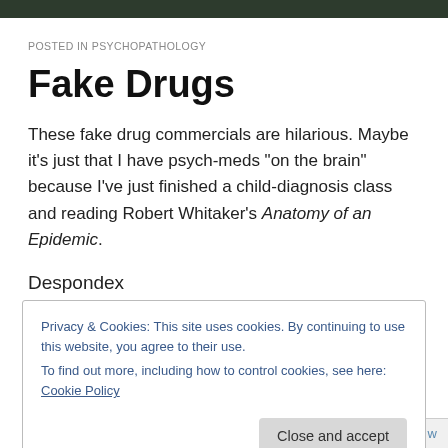POSTED IN PSYCHOPATHOLOGY
Fake Drugs
These fake drug commercials are hilarious. Maybe it’s just that I have psych-meds “on the brain” because I’ve just finished a child-diagnosis class and reading Robert Whitaker’s Anatomy of an Epidemic.
Despondex
Privacy & Cookies: This site uses cookies. By continuing to use this website, you agree to their use.
To find out more, including how to control cookies, see here: Cookie Policy